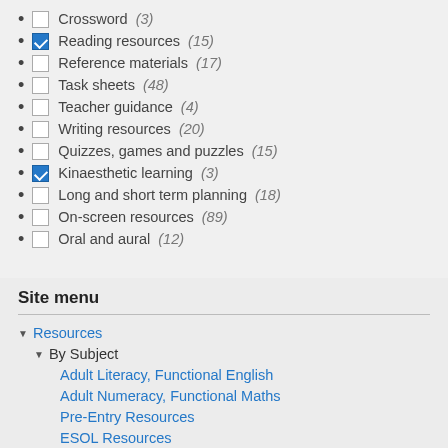Crossword (3)
Reading resources (15)
Reference materials (17)
Task sheets (48)
Teacher guidance (4)
Writing resources (20)
Quizzes, games and puzzles (15)
Kinaesthetic learning (3)
Long and short term planning (18)
On-screen resources (89)
Oral and aural (12)
Site menu
Resources
By Subject
Adult Literacy, Functional English
Adult Numeracy, Functional Maths
Pre-Entry Resources
ESOL Resources
ICT Resources
General Resources